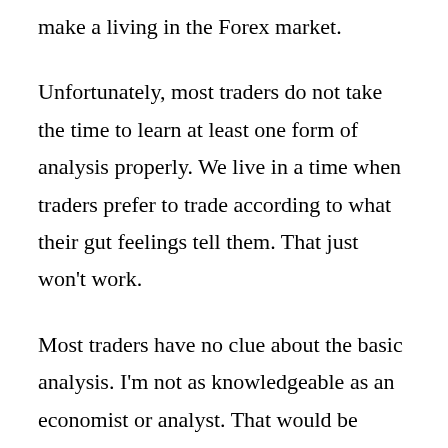the time, it will be very difficult for you to make a living in the Forex market.
Unfortunately, most traders do not take the time to learn at least one form of analysis properly. We live in a time when traders prefer to trade according to what their gut feelings tell them. That just won't work.
Most traders have no clue about the basic analysis. I'm not as knowledgeable as an economist or analyst. That would be unfair to